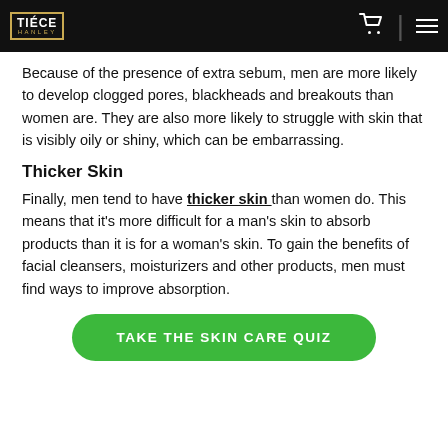TIÉCE HANLEY [logo] [cart icon] [hamburger menu]
Because of the presence of extra sebum, men are more likely to develop clogged pores, blackheads and breakouts than women are. They are also more likely to struggle with skin that is visibly oily or shiny, which can be embarrassing.
Thicker Skin
Finally, men tend to have thicker skin than women do. This means that it's more difficult for a man's skin to absorb products than it is for a woman's skin. To gain the benefits of facial cleansers, moisturizers and other products, men must find ways to improve absorption.
TAKE THE SKIN CARE QUIZ